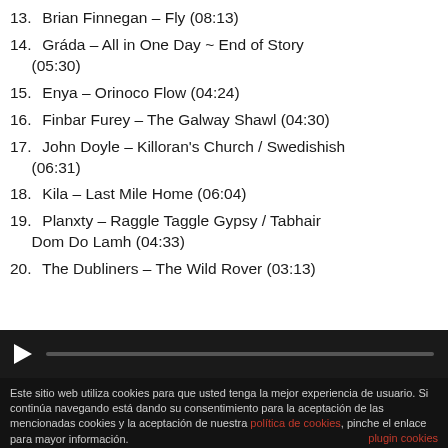13. Brian Finnegan – Fly (08:13)
14. Gráda – All in One Day ~ End of Story (05:30)
15. Enya – Orinoco Flow (04:24)
16. Finbar Furey – The Galway Shawl (04:30)
17. John Doyle – Killoran's Church / Swedishish (06:31)
18. Kila – Last Mile Home (06:04)
19. Planxty – Raggle Taggle Gypsy / Tabhair Dom Do Lamh (04:33)
20. The Dubliners – The Wild Rover (03:13)
[Figure (screenshot): Dark video player bar with play button and progress bar]
Este sitio web utiliza cookies para que usted tenga la mejor experiencia de usuario. Si continúa navegando está dando su consentimiento para la aceptación de las mencionadas cookies y la aceptación de nuestra política de cookies, pinche el enlace para mayor información.
ACEPTAR
plugin cookies